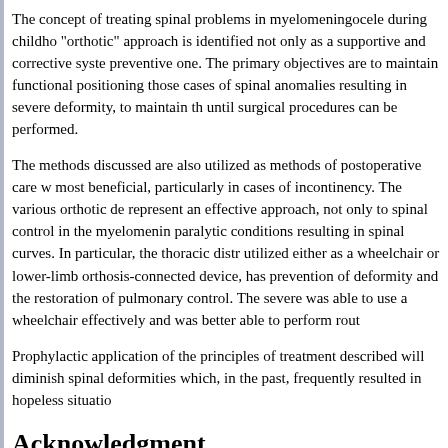The concept of treating spinal problems in myelomeningocele during childho... "orthotic" approach is identified not only as a supportive and corrective syste... preventive one. The primary objectives are to maintain functional positioning... those cases of spinal anomalies resulting in severe deformity, to maintain th... until surgical procedures can be performed.
The methods discussed are also utilized as methods of postoperative care w... most beneficial, particularly in cases of incontinency. The various orthotic de... represent an effective approach, not only to spinal control in the myelomenin... paralytic conditions resulting in spinal curves. In particular, the thoracic distr... utilized either as a wheelchair or lower-limb orthosis-connected device, has... prevention of deformity and the restoration of pulmonary control. The severe... was able to use a wheelchair effectively and was better able to perform rout...
Prophylactic application of the principles of treatment described will diminish... spinal deformities which, in the past, frequently resulted in hopeless situatio...
Acknowledgment
Appreciation is expressed for the illustrations provided by the Newington Ch...
References:
Bunch, W. H., Cass, A. S., Bensman, A. S. and Long, D. M. (1972). H... with myelomeningocele. Modern Management of Myelomeningocele... Green, Inc., 181-209.
Curtis, B. H. (1973). The hip in the myelomeningocele child. Clin. Ort...
Curtis, B. H. (1972). Principles of orthopaedic management in myelo... |Sym-posium on Myelomeningocele, St. Louis, C. V. Mosby Co., 157...
Curtis, B. H., Butler, J. E. and Emerson, C. E. (1972). Follow-up stud...